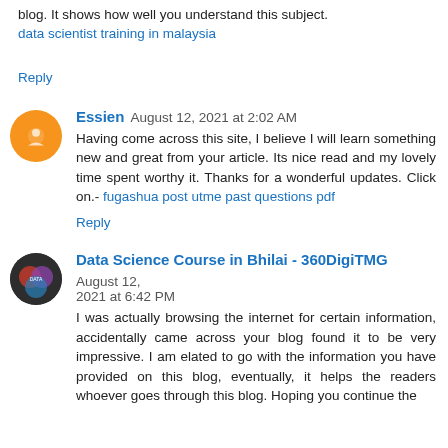blog. It shows how well you understand this subject.
data scientist training in malaysia
Reply
Essien  August 12, 2021 at 2:02 AM
Having come across this site, I believe I will learn something new and great from your article. Its nice read and my lovely time spent worthy it. Thanks for a wonderful updates. Click on.- fugashua post utme past questions pdf
Reply
Data Science Course in Bhilai - 360DigiTMG  August 12, 2021 at 6:42 PM
I was actually browsing the internet for certain information, accidentally came across your blog found it to be very impressive. I am elated to go with the information you have provided on this blog, eventually, it helps the readers whoever goes through this blog. Hoping you continue the